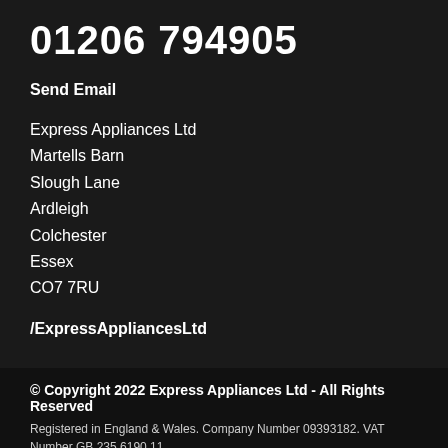01206 794905
Send Email
Express Appliances Ltd
Martells Barn
Slough Lane
Ardleigh
Colchester
Essex
CO7 7RU
/ExpressAppliancesLtd
© Copyright 2022 Express Appliances Ltd - All Rights Reserved
Registered in England & Wales. Company Number 09393182. VAT Number GB 235 6190 11
This site uses cookies to provide you with a great user experience. By using Express Appliances, you accept our cookie policy.